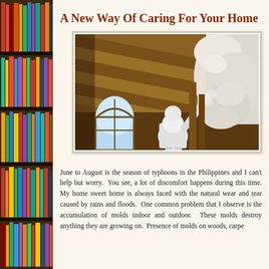[Figure (photo): Bookshelf with colorful books arranged on wooden shelves, visible on the left side panel of the page]
A New Way Of Caring For Your Home
[Figure (photo): A person in a white protective suit spraying foam insulation on wooden rafters inside a building. An arched window is visible in the background.]
June to August is the season of typhoons in the Philippines and I can't help but worry. You see, a lot of discomfort happens during this time. My home sweet home is always faced with the natural wear and tear caused by rains and floods. One common problem that I observe is the accumulation of molds indoor and outdoor. These molds destroy anything they are growing on. Presence of molds on woods, carpe